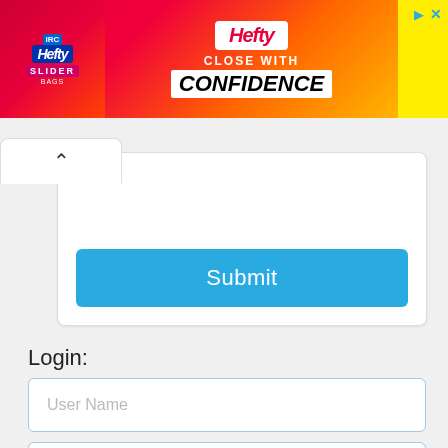[Figure (other): Hefty Slider Bags advertisement banner with red/orange/yellow gradient background. Shows Hefty logo and text 'CLOSE WITH CONFIDENCE'.]
[Figure (screenshot): Web form card with a collapse arrow tab and a blue Submit button]
Login:
[Figure (screenshot): User Name input field (empty, placeholder text shown)]
[Figure (screenshot): Password input field (empty, placeholder text shown)]